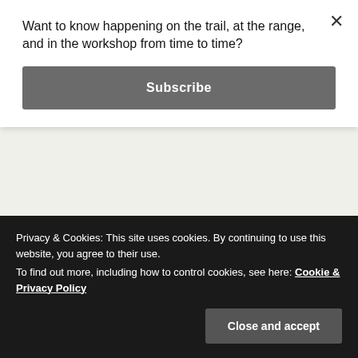head shake the author of the opinion was looking for. The author was trying to make a case against campus carry laws in Texas by pointing out that the system for getting a license to carry a handgun is flawed since he was able to obtain a license and carry gun while admittedly lacking proficiency. My
Want to know happening on the trail, at the range, and in the workshop from time to time?
Subscribe
Privacy & Cookies: This site uses cookies. By continuing to use this website, you agree to their use.
To find out more, including how to control cookies, see here: Cookie & Privacy Policy
Close and accept